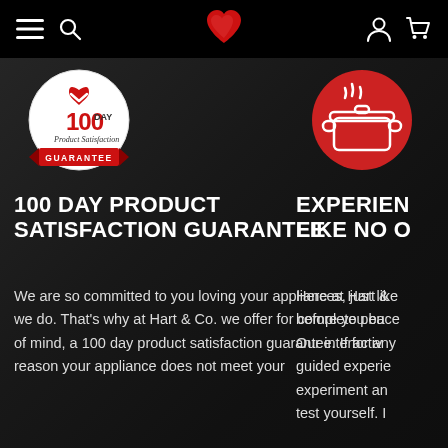Navigation bar with menu, search, heart logo, user and cart icons
[Figure (logo): 100 Day Product Satisfaction Guarantee badge — circular white badge with red heart/double-chevron icon and red ribbon banner reading GUARANTEE]
100 DAY PRODUCT SATISFACTION GUARANTEE
We are so committed to you loving your appliances, just like we do. That's why at Hart & Co. we offer for complete peace of mind, a 100 day product satisfaction guarantee. If for any reason your appliance does not meet your
[Figure (illustration): Red circle icon with white cooking pot/casserole dish with steam lines above it]
EXPERIENCE LIKE NO O
Here at Hart & before you bu Our interactiv guided experie experiment an test yourself. I